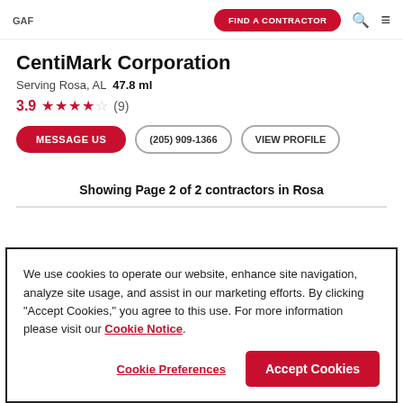GAF | FIND A CONTRACTOR
CentiMark Corporation
Serving Rosa, AL  47.8 ml
3.9 ★★★★☆ (9)
MESSAGE US | (205) 909-1366 | VIEW PROFILE
Showing Page 2 of 2 contractors in Rosa
We use cookies to operate our website, enhance site navigation, analyze site usage, and assist in our marketing efforts. By clicking "Accept Cookies," you agree to this use. For more information please visit our Cookie Notice.
Cookie Preferences | Accept Cookies